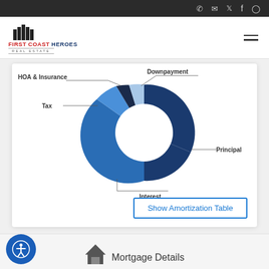[Figure (logo): First Coast Heroes Real Estate logo with building icon]
[Figure (donut-chart): Mortgage Payment Breakdown]
Show Amortization Table
Mortgage Details